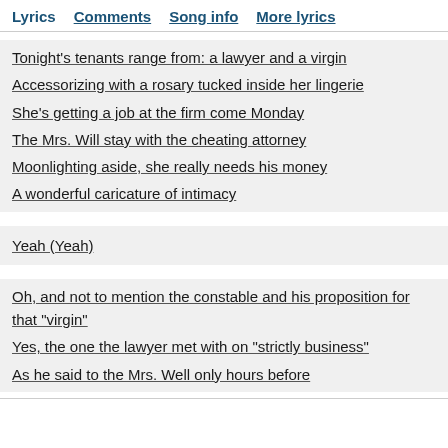Lyrics  Comments  Song info  More lyrics
Tonight's tenants range from: a lawyer and a virgin
Accessorizing with a rosary tucked inside her lingerie
She's getting a job at the firm come Monday
The Mrs. Will stay with the cheating attorney
Moonlighting aside, she really needs his money
A wonderful caricature of intimacy
Yeah (Yeah)
Oh, and not to mention the constable and his proposition for that "virgin"
Yes, the one the lawyer met with on "strictly business"
As he said to the Mrs. Well only hours before
Which emotions does this song convey in you?